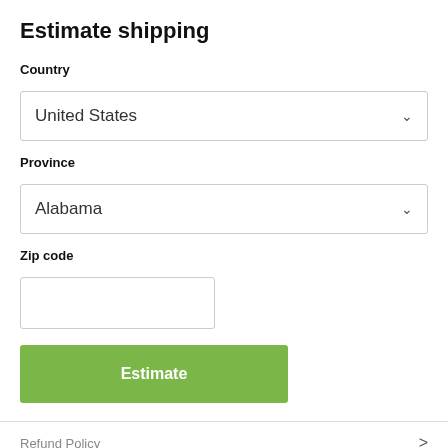Estimate shipping
Country
United States
Province
Alabama
Zip code
Estimate
Refund Policy